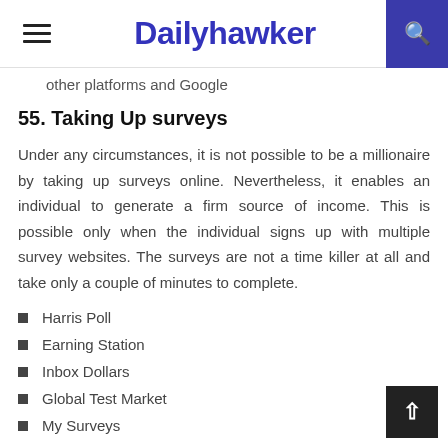Dailyhawker
other platforms and Google
55. Taking Up surveys
Under any circumstances, it is not possible to be a millionaire by taking up surveys online. Nevertheless, it enables an individual to generate a firm source of income. This is possible only when the individual signs up with multiple survey websites. The surveys are not a time killer at all and take only a couple of minutes to complete.
Harris Poll
Earning Station
Inbox Dollars
Global Test Market
My Surveys